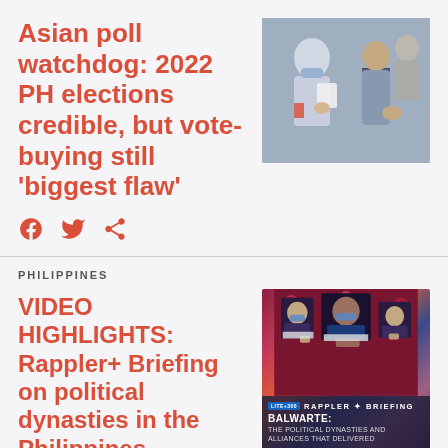Asian poll watchdog: 2022 PH elections credible, but vote-buying still ‘biggest flaw’
[Figure (photo): Photo of people at a polling station, some wearing masks, handling papers]
[Figure (other): Social media share icons: Facebook, Twitter, Share]
PHILIPPINES
VIDEO HIGHLIGHTS: Rappler+ Briefing on political dynasties in the Philippines
[Figure (illustration): Illustrated graphic for Rappler+ Briefing: BALWARTE: THE POLITICAL DYNASTIES AND ALLIANCES THAT DELIVERED]
[Figure (other): Social media share icons: Facebook, Twitter, Share]